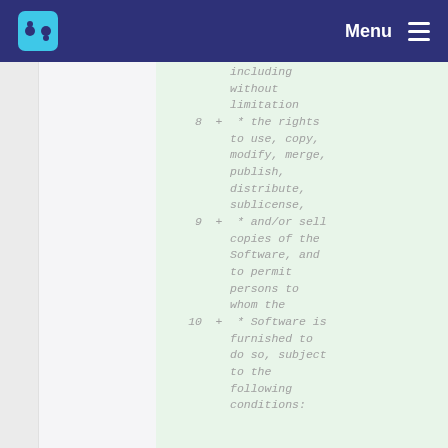Menu
including without limitation
8 + * the rights to use, copy, modify, merge, publish, distribute, sublicense,
9 + * and/or sell copies of the Software, and to permit persons to whom the
10 + * Software is furnished to do so, subject to the following conditions: